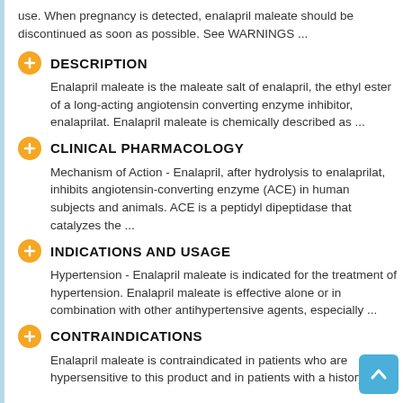use. When pregnancy is detected, enalapril maleate should be discontinued as soon as possible. See WARNINGS ...
DESCRIPTION
Enalapril maleate is the maleate salt of enalapril, the ethyl ester of a long-acting angiotensin converting enzyme inhibitor, enalaprilat. Enalapril maleate is chemically described as ...
CLINICAL PHARMACOLOGY
Mechanism of Action - Enalapril, after hydrolysis to enalaprilat, inhibits angiotensin-converting enzyme (ACE) in human subjects and animals. ACE is a peptidyl dipeptidase that catalyzes the ...
INDICATIONS AND USAGE
Hypertension - Enalapril maleate is indicated for the treatment of hypertension. Enalapril maleate is effective alone or in combination with other antihypertensive agents, especially ...
CONTRAINDICATIONS
Enalapril maleate is contraindicated in patients who are hypersensitive to this product and in patients with a history